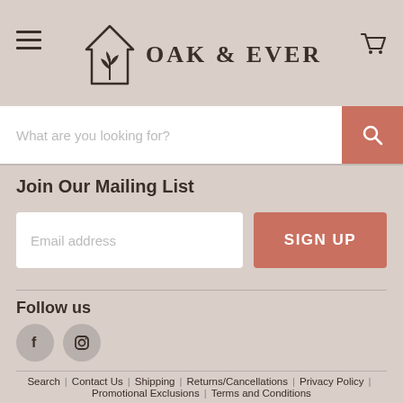[Figure (logo): Oak & Ever logo: house icon with plant inside and brand name text]
What are you looking for?
Join Our Mailing List
Email address
SIGN UP
Follow us
[Figure (illustration): Facebook and Instagram social media icons (circular grey buttons)]
Search | Contact Us | Shipping | Returns/Cancellations | Privacy Policy | Promotional Exclusions | Terms and Conditions